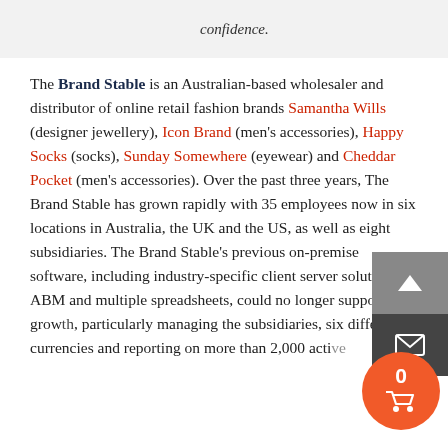confidence.
The Brand Stable is an Australian-based wholesaler and distributor of online retail fashion brands Samantha Wills (designer jewellery), Icon Brand (men's accessories), Happy Socks (socks), Sunday Somewhere (eyewear) and Cheddar Pocket (men's accessories). Over the past three years, The Brand Stable has grown rapidly with 35 employees now in six locations in Australia, the UK and the US, as well as eight subsidiaries. The Brand Stable's previous on-premise software, including industry-specific client server solution ABM and multiple spreadsheets, could no longer support this growth, particularly managing the subsidiaries, six different currencies and reporting on more than 2,000 acti...